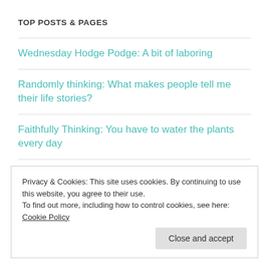TOP POSTS & PAGES
Wednesday Hodge Podge: A bit of laboring
Randomly thinking: What makes people tell me their life stories?
Faithfully Thinking: You have to water the plants every day
Privacy & Cookies: This site uses cookies. By continuing to use this website, you agree to their use.
To find out more, including how to control cookies, see here: Cookie Policy
Close and accept